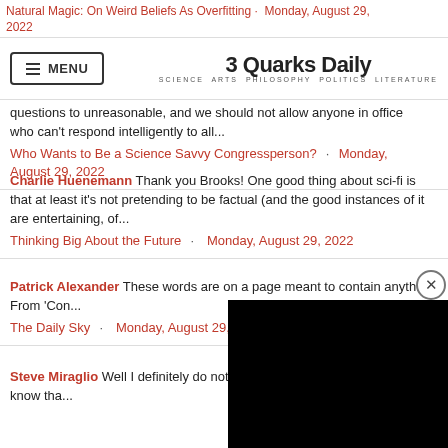Natural Magic: On Weird Beliefs As Overfitting · Monday, August 29, 2022
MENU | 3 Quarks Daily — SCIENCE ARTS PHILOSOPHY POLITICS LITERATURE
questions to unreasonable, and we should not allow anyone in office who can't respond intelligently to all...
Who Wants to Be a Science Savvy Congressperson? · Monday, August 29, 2022
Charlie Huenemann Thank you Brooks! One good thing about sci-fi is that at least it's not pretending to be factual (and the good instances of it are entertaining, of...
Thinking Big About the Future · Monday, August 29, 2022
Patrick Alexander These words are on a page meant to contain anything From 'Con...
The Daily Sky · Monday, August 29, 2...
Steve Miraglio Well I definitely do not... position of any sort. But I do know tha...
[Figure (screenshot): Black video player overlay in bottom right corner with close (X) button]